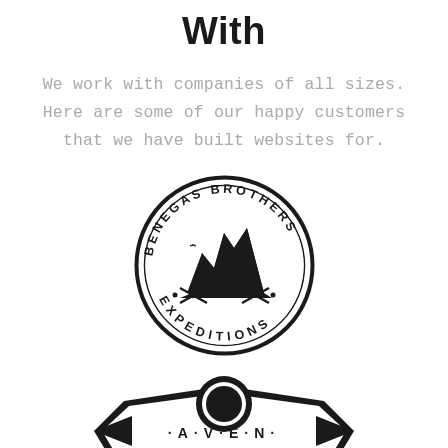With
We work with companies of all sizes. Here are some of our happy customers that we have built websites for.
[Figure (logo): Benegas Brothers Expeditions circular badge logo with mountain silhouette in center and text around the border]
[Figure (logo): Aven logo with ornate badge design, partially visible at bottom of page]